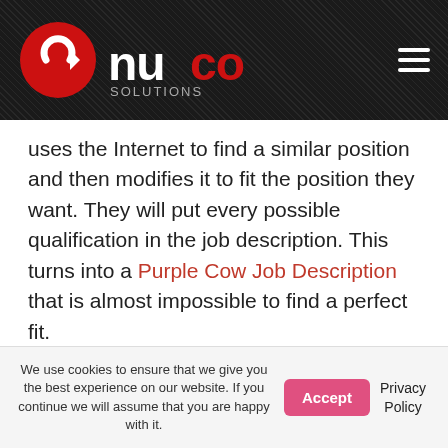NUCO Solutions logo and navigation header
uses the Internet to find a similar position and then modifies it to fit the position they want. They will put every possible qualification in the job description. This turns into a Purple Cow Job Description that is almost impossible to find a perfect fit.
Your Resume
If you are smart, you will customize
We use cookies to ensure that we give you the best experience on our website. If you continue we will assume that you are happy with it.